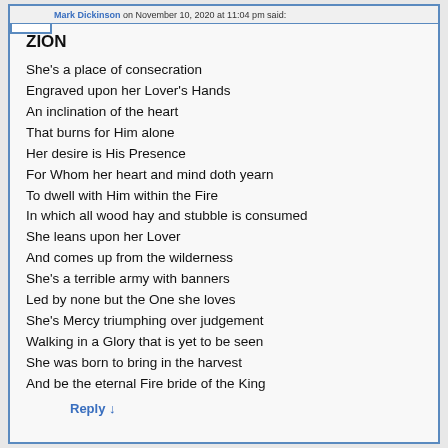Mark Dickinson on November 10, 2020 at 11:04 pm said:
ZION
She's a place of consecration
Engraved upon her Lover's Hands
An inclination of the heart
That burns for Him alone
Her desire is His Presence
For Whom her heart and mind doth yearn
To dwell with Him within the Fire
In which all wood hay and stubble is consumed
She leans upon her Lover
And comes up from the wilderness
She's a terrible army with banners
Led by none but the One she loves
She's Mercy triumphing over judgement
Walking in a Glory that is yet to be seen
She was born to bring in the harvest
And be the eternal Fire bride of the King
Reply ↓